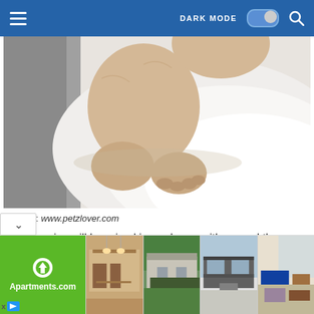DARK MODE toggle, search icon, hamburger menu
[Figure (photo): Close-up photo of a puppy (likely French bulldog) on a white fluffy surface, showing paws and lower body]
Source: www.petzlover.com
Our puppies will be raised in our home with around the care. We have french bulldog puppies for sale to
[Figure (infographic): Advertisement banner for Apartments.com showing green logo panel on left and four house/interior photos on right, with X and play button at bottom left]